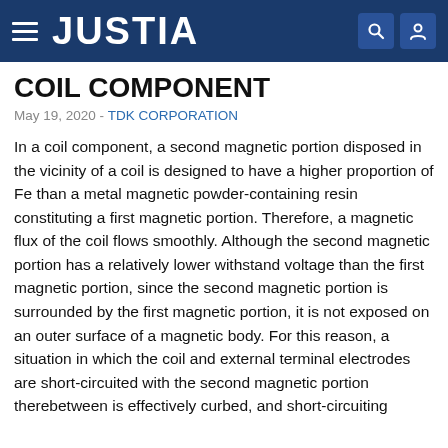JUSTIA
COIL COMPONENT
May 19, 2020 - TDK CORPORATION
In a coil component, a second magnetic portion disposed in the vicinity of a coil is designed to have a higher proportion of Fe than a metal magnetic powder-containing resin constituting a first magnetic portion. Therefore, a magnetic flux of the coil flows smoothly. Although the second magnetic portion has a relatively lower withstand voltage than the first magnetic portion, since the second magnetic portion is surrounded by the first magnetic portion, it is not exposed on an outer surface of a magnetic body. For this reason, a situation in which the coil and external terminal electrodes are short-circuited with the second magnetic portion therebetween is effectively curbed, and short-circuiting between the coil and the external terminal electrodes